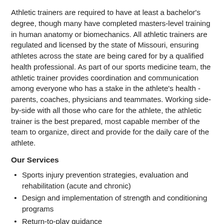Athletic trainers are required to have at least a bachelor's degree, though many have completed masters-level training in human anatomy or biomechanics. All athletic trainers are regulated and licensed by the state of Missouri, ensuring athletes across the state are being cared for by a qualified health professional. As part of our sports medicine team, the athletic trainer provides coordination and communication among everyone who has a stake in the athlete's health - parents, coaches, physicians and teammates. Working side-by-side with all those who care for the athlete, the athletic trainer is the best prepared, most capable member of the team to organize, direct and provide for the daily care of the athlete.
Our Services
Sports injury prevention strategies, evaluation and rehabilitation (acute and chronic)
Design and implementation of strength and conditioning programs
Return-to-play guidance
Sports-related concussion evaluation and management
Nutrition guidance
Referring athletes to appropriate physicians, specialists